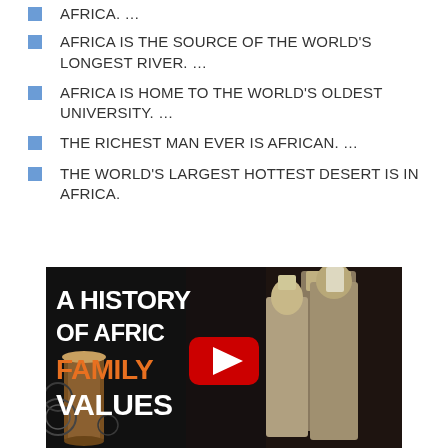AFRICA. ...
AFRICA IS THE SOURCE OF THE WORLD'S LONGEST RIVER. ...
AFRICA IS HOME TO THE WORLD'S OLDEST UNIVERSITY. ...
THE RICHEST MAN EVER IS AFRICAN. ...
THE WORLD'S LARGEST HOTTEST DESERT IS IN AFRICA.
[Figure (screenshot): YouTube video thumbnail showing Egyptian statues on the right, drum instruments on the left, with dark background. White bold text reads 'A HISTORY OF AFRICA' with 'FAMILY' in orange and 'VALUES' in white. A red YouTube play button is centered.]